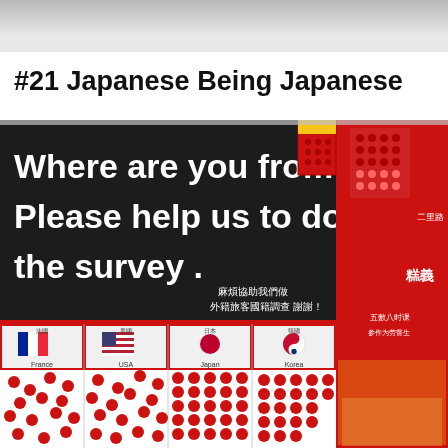Source: boredpanda.com
#21 Japanese Being Japanese
[Figure (photo): A photo of a survey board at what appears to be a restaurant or tourist spot. The board has a dark banner reading 'Where are you from? Please help us to do the survey.' with Chinese text below. Below the banner are four flag sections (France, USA, Japan, Korea) each with a column of red dots representing votes/responses. A red McDonald's-style fries box is visible at the top right corner of the board. A red poster with Chinese text is visible on the right side.]